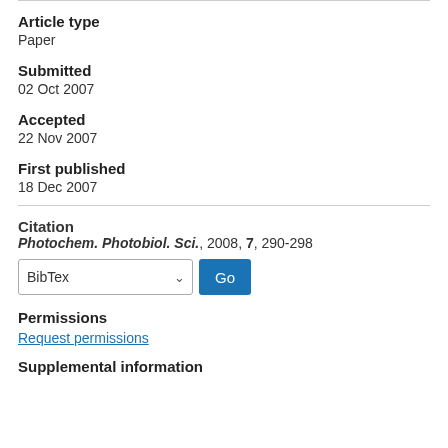Article type
Paper
Submitted
02 Oct 2007
Accepted
22 Nov 2007
First published
18 Dec 2007
Citation
Photochem. Photobiol. Sci., 2008, 7, 290-298
Permissions
Request permissions
Supplemental information